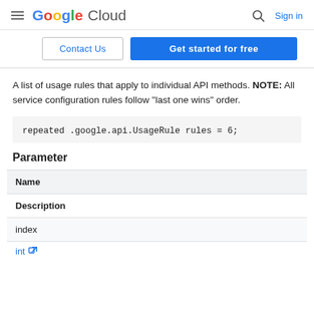Google Cloud — Sign in
Contact Us | Get started for free
A list of usage rules that apply to individual API methods. NOTE: All service configuration rules follow "last one wins" order.
repeated .google.api.UsageRule rules = 6;
Parameter
| Name | Description |
| --- | --- |
| index | int |